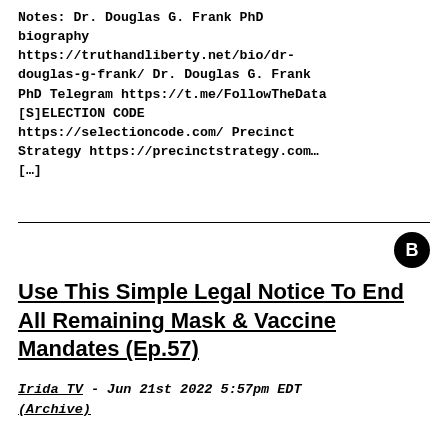Notes: Dr. Douglas G. Frank PhD biography https://truthandliberty.net/bio/dr-douglas-g-frank/ Dr. Douglas G. Frank PhD Telegram https://t.me/FollowTheData [S]ELECTION CODE https://selectioncode.com/ Precinct Strategy https://precinctstrategy.com… […]
Use This Simple Legal Notice To End All Remaining Mask & Vaccine Mandates (Ep.57)
Irida TV - Jun 21st 2022 5:57pm EDT (Archive)